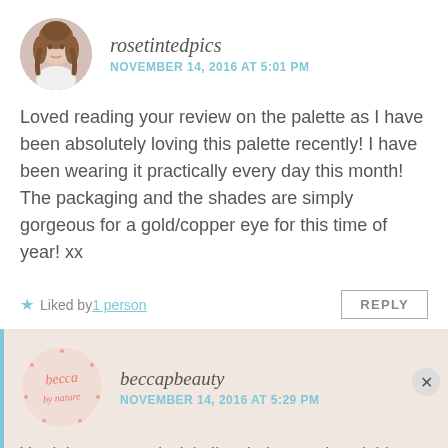[Figure (photo): Circular avatar of a young woman with brown wavy hair, wearing white, against a white background]
rosetintedpics
NOVEMBER 14, 2016 AT 5:01 PM
Loved reading your review on the palette as I have been absolutely loving this palette recently! I have been wearing it practically every day this month! The packaging and the shades are simply gorgeous for a gold/copper eye for this time of year! xx
Liked by 1 person
REPLY
[Figure (logo): Circular logo with pink handwritten text 'becca by nature' with small pink dots around the border on a light beige background]
beccapbeauty
NOVEMBER 14, 2016 AT 5:29 PM
Yes it is gorgeous isn't it. I'm glad you enjoyed this
Advertisements